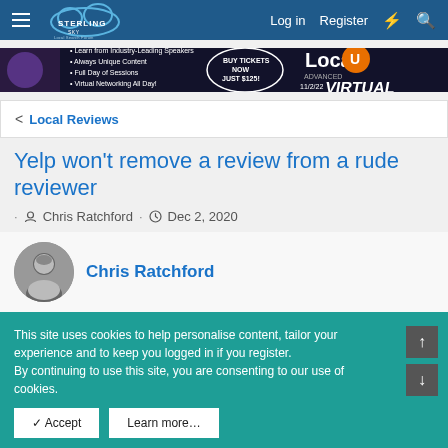Sterling Sky Local Search Forum — Log in | Register
[Figure (photo): LocalU Advanced Virtual event advertisement banner, dark background with event details and 11/2/22 date]
< Local Reviews
Yelp won't remove a review from a rude reviewer
· Chris Ratchford · Dec 2, 2020
Chris Ratchford
This site uses cookies to help personalise content, tailor your experience and to keep you logged in if you register.
By continuing to use this site, you are consenting to our use of cookies.
✓ Accept    Learn more…